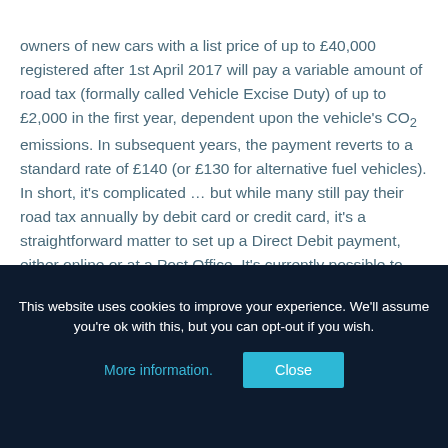owners of new cars with a list price of up to £40,000 registered after 1st April 2017 will pay a variable amount of road tax (formally called Vehicle Excise Duty) of up to £2,000 in the first year, dependent upon the vehicle's CO₂ emissions. In subsequent years, the payment reverts to a standard rate of £140 (or £130 for alternative fuel vehicles). In short, it's complicated ... but while many still pay their road tax annually by debit card or credit card, it's a straightforward matter to set up a Direct Debit payment, either online or at a Post Office. It's currently possible to pay road tax by Direct Debit collected yearly, six-monthly or monthly. There's a 5% surcharge for monthly and six-
This website uses cookies to improve your experience. We'll assume you're ok with this, but you can opt-out if you wish. More information. Close